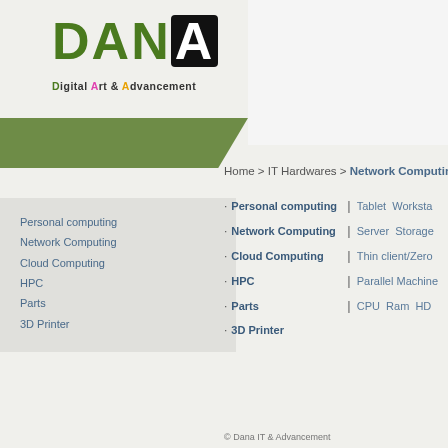[Figure (logo): DANA Digital Art & Advancement logo with green and black lettering and green trapezoid shape]
Home > IT Hardwares > Network Computing
Personal computing
Network Computing
Cloud Computing
HPC
Parts
3D Printer
· Personal computing | Tablet Worksta...
· Network Computing | Server Storage
· Cloud Computing | Thin client/Zero...
· HPC | Parallel Machine...
· Parts | CPU Ram HD...
· 3D Printer